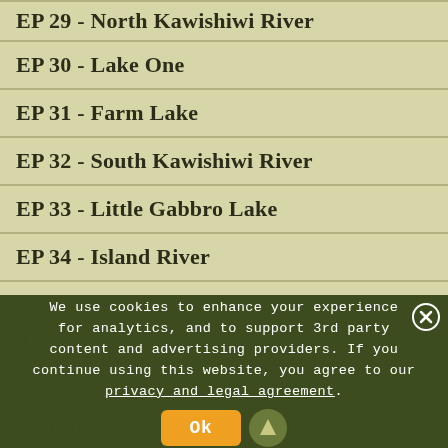EP 29 - North Kawishiwi River
EP 30 - Lake One
EP 31 - Farm Lake
EP 32 - South Kawishiwi River
EP 33 - Little Gabbro Lake
EP 34 - Island River
EP 35 - Isabella Lake
EP 36 - Hog Creek
EP 37 - Kawishiwi Lake
EP 38 - Sawbill Lake
EP 39 - Baker Lake
EP 40 - Homer Lake
EP 41 - Brule Lake
We use cookies to enhance your experience for analytics, and to support 3rd party content and advertising providers. If you continue using this website, you agree to our privacy and legal agreement.